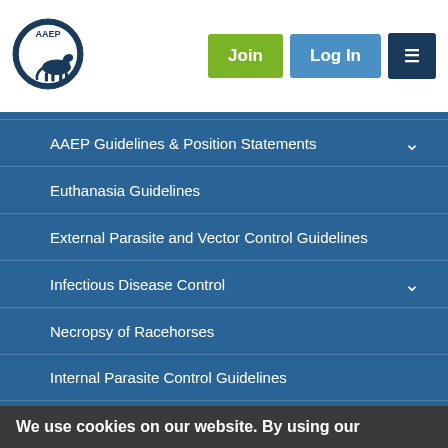[Figure (logo): AAEP circular logo with horse silhouette]
AAEP Guidelines & Position Statements
Euthanasia Guidelines
External Parasite and Vector Control Guidelines
Infectious Disease Control
Necropsy of Racehorses
Internal Parasite Control Guidelines
Reporting Purchase Examinations
Rescue and Retirement
Thoroughbred Race Day Injury Management
We use cookies on our website. By using our